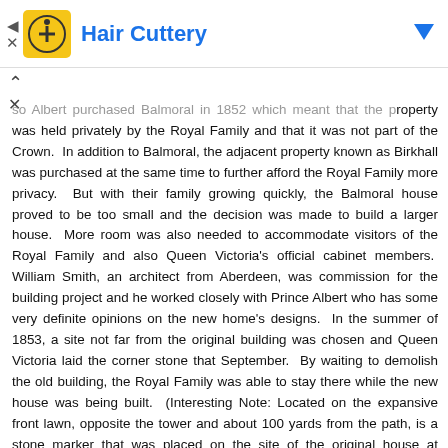Hair Cuttery
so Albert purchased Balmoral in 1852 which meant that the property was held privately by the Royal Family and that it was not part of the Crown. In addition to Balmoral, the adjacent property known as Birkhall was purchased at the same time to further afford the Royal Family more privacy. But with their family growing quickly, the Balmoral house proved to be too small and the decision was made to build a larger house. More room was also needed to accommodate visitors of the Royal Family and also Queen Victoria's official cabinet members. William Smith, an architect from Aberdeen, was commission for the building project and he worked closely with Prince Albert who has some very definite opinions on the new home's designs. In the summer of 1853, a site not far from the original building was chosen and Queen Victoria laid the corner stone that September. By waiting to demolish the old building, the Royal Family was able to stay there while the new house was being built. (Interesting Note: Located on the expansive front lawn, opposite the tower and about 100 yards from the path, is a stone marker that was placed on the site of the original house at Balmoral that was demolished in 1856)